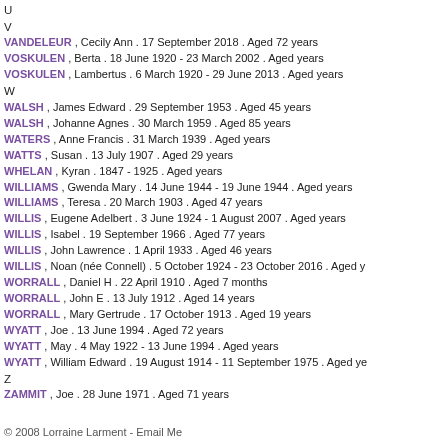U
V
VANDELEUR , Cecily Ann . 17 September 2018 . Aged 72 years
VOSKULEN , Berta . 18 June 1920 - 23 March 2002 . Aged years
VOSKULEN , Lambertus . 6 March 1920 - 29 June 2013 . Aged years
W
WALSH , James Edward . 29 September 1953 . Aged 45 years
WALSH , Johanne Agnes . 30 March 1959 . Aged 85 years
WATERS , Anne Francis . 31 March 1939 . Aged years
WATTS , Susan . 13 July 1907 . Aged 29 years
WHELAN , Kyran . 1847 - 1925 . Aged years
WILLIAMS , Gwenda Mary . 14 June 1944 - 19 June 1944 . Aged years
WILLIAMS , Teresa . 20 March 1903 . Aged 47 years
WILLIS , Eugene Adelbert . 3 June 1924 - 1 August 2007 . Aged years
WILLIS , Isabel . 19 September 1966 . Aged 77 years
WILLIS , John Lawrence . 1 April 1933 . Aged 46 years
WILLIS , Noan (née Connell) . 5 October 1924 - 23 October 2016 . Aged y
WORRALL , Daniel H . 22 April 1910 . Aged 7 months
WORRALL , John E . 13 July 1912 . Aged 14 years
WORRALL , Mary Gertrude . 17 October 1913 . Aged 19 years
WYATT , Joe . 13 June 1994 . Aged 72 years
WYATT , May . 4 May 1922 - 13 June 1994 . Aged years
WYATT , William Edward . 19 August 1914 - 11 September 1975 . Aged ye
Z
ZAMMIT , Joe . 28 June 1971 . Aged 71 years
© 2008 Lorraine Larment  - Email Me